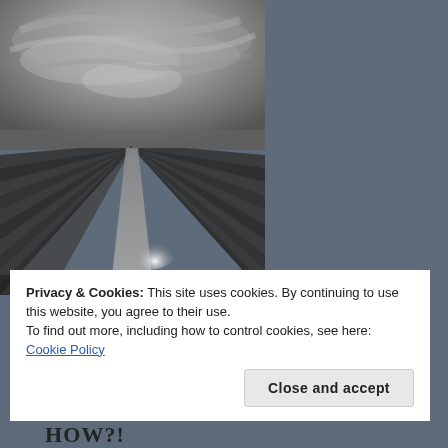[Figure (photo): Black and white photograph of a long straight path or road through rows of lavender or crop fields, with dramatic cloudy sky above creating a vanishing point perspective]
Privacy & Cookies: This site uses cookies. By continuing to use this website, you agree to their use.
To find out more, including how to control cookies, see here: Cookie Policy
Close and accept
HOW?!